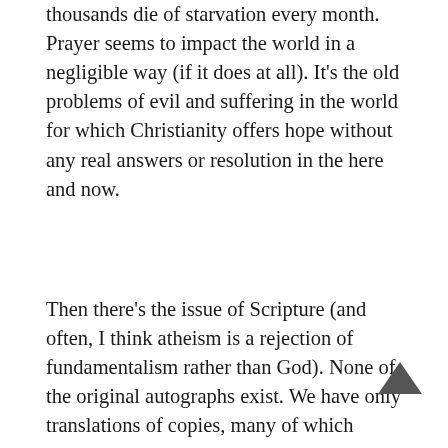thousands die of starvation every month. Prayer seems to impact the world in a negligible way (if it does at all). It’s the old problems of evil and suffering in the world for which Christianity offers hope without any real answers or resolution in the here and now.
Then there’s the issue of Scripture (and often, I think atheism is a rejection of fundamentalism rather than God). None of the original autographs exist. We have only translations of copies, many of which contain insertions that never existed in the earliest manuscripts (such as the story of the woman taken in adultery). There are problematic contradictions (such as Matthew’s claim that Christ was born when Herod was still alive versus Luke’s claim that Christ was born after